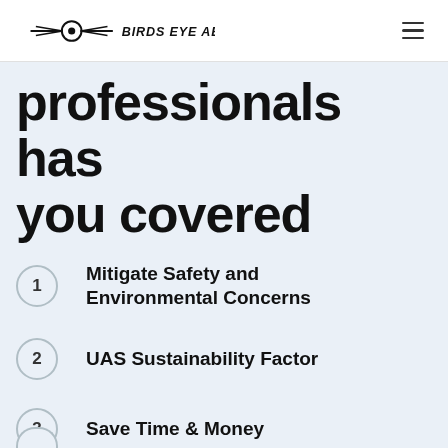BIRDS EYE AERIAL DRONES
professionals has you covered
1 Mitigate Safety and Environmental Concerns
2 UAS Sustainability Factor
3 Save Time & Money